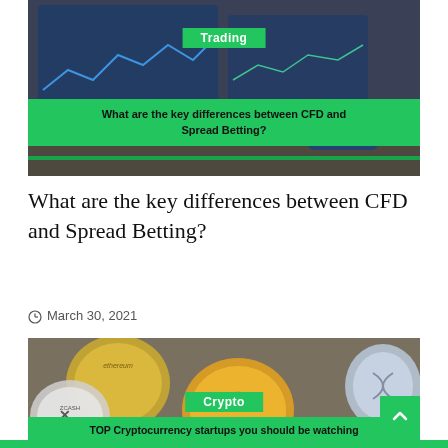[Figure (photo): Photo of trading screens/monitors showing financial charts, with a green banner overlay reading 'Trading' and a green ribbon banner reading 'What are the key differences between CFD and Spread Betting?']
What are the key differences between CFD and Spread Betting?
March 30, 2021
[Figure (photo): Close-up photo of multiple cryptocurrency coins including Ethereum, Zcash, Bitcoin, and Ripple, with a green banner overlay reading 'Crypto' and a green ribbon reading 'TOP Cryptocurrency startups you should be watching']